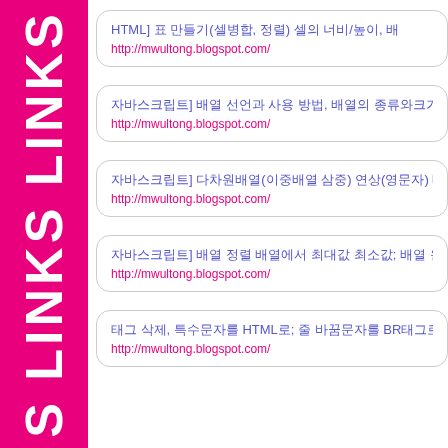LINKS LINKS LINKS
HTML] 표 만들기(셀병합, 정렬) 셀의 너비/높이, 배경
http://mwultong.blogspot.com/
자바스크립트] 배열 선언과 사용 방법, 배열의 종류와크기; JavaScript
http://mwultong.blogspot.com/
자바스크립트] 다차원배열(이중배열 삼중) 연상(영문자) 배열 사용 방법; J
http://mwultong.blogspot.com/
자바스크립트] 배열 정렬 배열에서 최대값 최소값; 배열 원소 개수; Ja
http://mwultong.blogspot.com/
태그 삭제, 특수문자를 HTML로; 줄 바꿈문자를 BR태그로; Tag C
http://mwultong.blogspot.com/